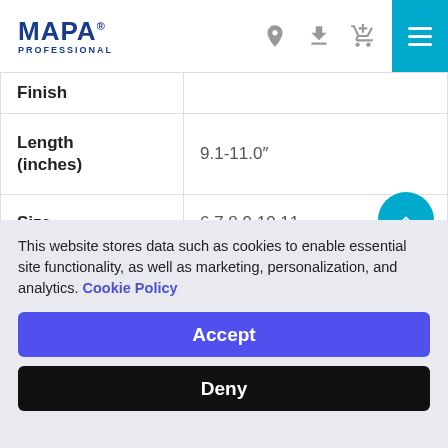MAPA PROFESSIONAL
| Property | Value |
| --- | --- |
| Finish |  |
| Length (inches) | 9.1-11.0" |
| Size | 6 7 8 9 10 11 |
| Packaging | 1 pair/bag |
This website stores data such as cookies to enable essential site functionality, as well as marketing, personalization, and analytics. Cookie Policy
Accept
Deny